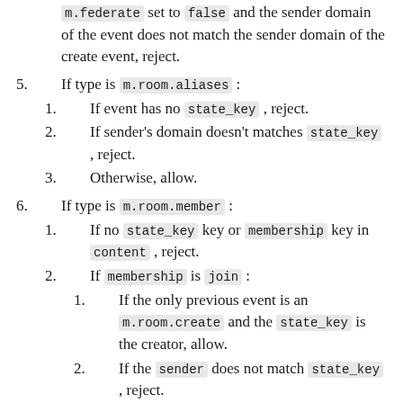m.federate set to false and the sender domain of the event does not match the sender domain of the create event, reject.
5. If type is m.room.aliases:
1. If event has no state_key, reject.
2. If sender's domain doesn't matches state_key, reject.
3. Otherwise, allow.
6. If type is m.room.member:
1. If no state_key key or membership key in content, reject.
2. If membership is join:
1. If the only previous event is an m.room.create and the state_key is the creator, allow.
2. If the sender does not match state_key, reject.
3. If the ...